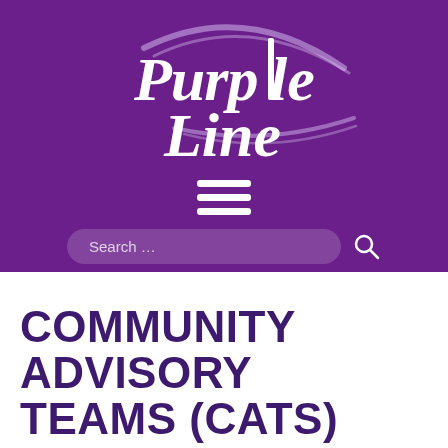[Figure (logo): Purple Line transit logo on dark purple background with hamburger menu icon and search bar]
COMMUNITY ADVISORY TEAMS (CATS)